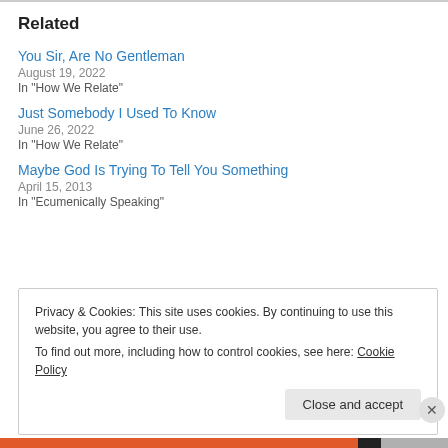Related
You Sir, Are No Gentleman
August 19, 2022
In "How We Relate"
Just Somebody I Used To Know
June 26, 2022
In "How We Relate"
Maybe God Is Trying To Tell You Something
April 15, 2013
In "Ecumenically Speaking"
Privacy & Cookies: This site uses cookies. By continuing to use this website, you agree to their use.
To find out more, including how to control cookies, see here: Cookie Policy
Close and accept